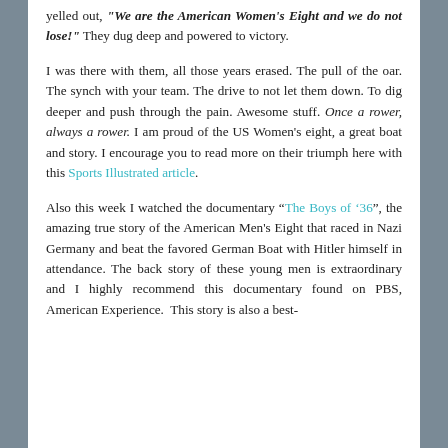yelled out, "We are the American Women's Eight and we do not lose!" They dug deep and powered to victory.
I was there with them, all those years erased. The pull of the oar. The synch with your team. The drive to not let them down. To dig deeper and push through the pain. Awesome stuff. Once a rower, always a rower. I am proud of the US Women's eight, a great boat and story. I encourage you to read more on their triumph here with this Sports Illustrated article.
Also this week I watched the documentary “The Boys of ’36”, the amazing true story of the American Men's Eight that raced in Nazi Germany and beat the favored German Boat with Hitler himself in attendance. The back story of these young men is extraordinary and I highly recommend this documentary found on PBS, American Experience. This story is also a best-